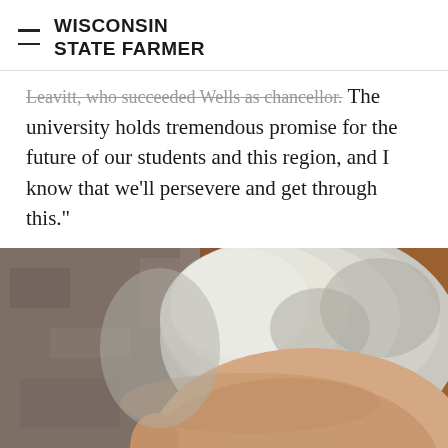WISCONSIN STATE FARMER
Leavitt, who succeeded Wells as chancellor. "The university holds tremendous promise for the future of our students and this region, and I know that we'll persevere and get through this."
[Figure (photo): Close-up photograph of a man with gray hair and glasses, partially visible, against a reddish-brown and stone background.]